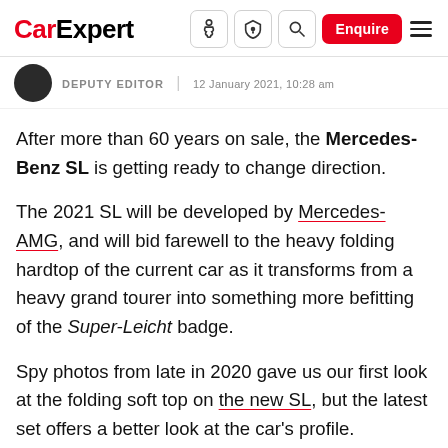CarExpert — navigation header with Enquire button
DEPUTY EDITOR | 12 January 2021, 10:28 am
After more than 60 years on sale, the Mercedes-Benz SL is getting ready to change direction.
The 2021 SL will be developed by Mercedes-AMG, and will bid farewell to the heavy folding hardtop of the current car as it transforms from a heavy grand tourer into something more befitting of the Super-Leicht badge.
Spy photos from late in 2020 gave us our first look at the folding soft top on the new SL, but the latest set offers a better look at the car’s profile.